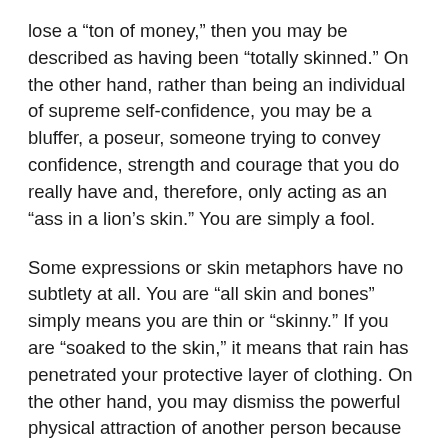lose a “ton of money,” then you may be described as having been “totally skinned.” On the other hand, rather than being an individual of supreme self-confidence, you may be a bluffer, a poseur, someone trying to convey confidence, strength and courage that you do really have and, therefore, only acting as an “ass in a lion’s skin.” You are simply a fool.
Some expressions or skin metaphors have no subtlety at all. You are “all skin and bones” simply means you are thin or “skinny.” If you are “soaked to the skin,” it means that rain has penetrated your protective layer of clothing. On the other hand, you may dismiss the powerful physical attraction of another person because they look exquisite but that does not really count since “beauty is only skin deep.” Beauty is superficial. What counts is character. And